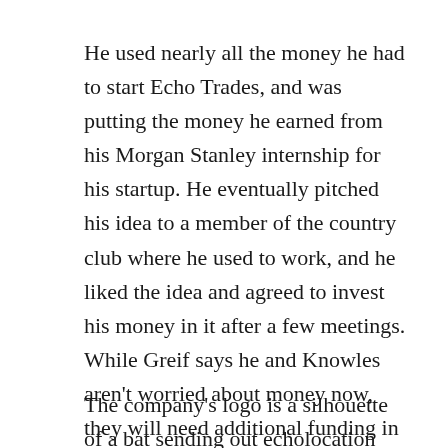He used nearly all the money he had to start Echo Trades, and was putting the money he earned from his Morgan Stanley internship for his startup. He eventually pitched his idea to a member of the country club where he used to work, and he liked the idea and agreed to invest his money in it after a few meetings. While Greif says he and Knowles aren't worried about money now, they will need additional funding in the future, and are in negotiations with people who want to not only buy into the company, but also join the staff.
The company's logo is a silhouette of a bat sending out echolocation waves. Greif says